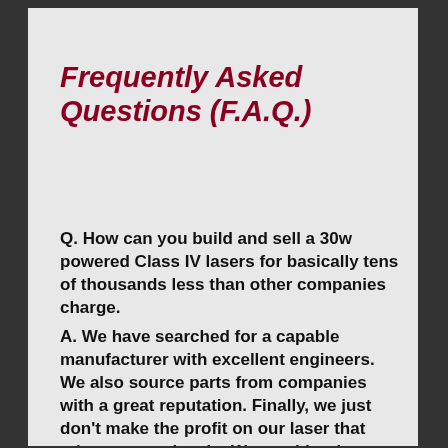Frequently Asked Questions (F.A.Q.)
Q.  How can you build and sell a 30w powered Class IV lasers for basically tens of thousands less than other companies charge.
A.  We have searched for a capable manufacturer with excellent engineers.  We also source parts from companies with a great reputation.  Finally, we just don't make the profit on our laser that other companies do.  We would rather pass that savings onto the doctor or therapist.  Believe us, a $20,000 plus more expensive laser has NO better treatment capabilities than does the MERRAY